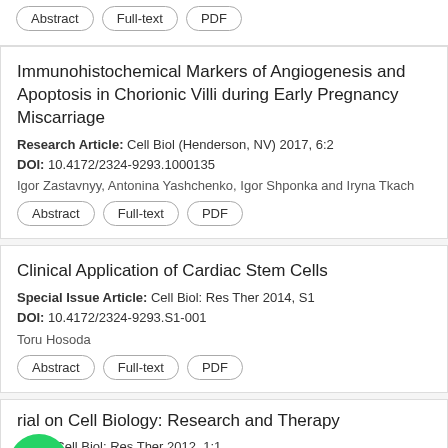[Partial buttons: Abstract, Full-text, PDF]
Immunohistochemical Markers of Angiogenesis and Apoptosis in Chorionic Villi during Early Pregnancy Miscarriage
Research Article: Cell Biol (Henderson, NV) 2017, 6:2
DOI: 10.4172/2324-9293.1000135
Igor Zastavnyy, Antonina Yashchenko, Igor Shponka and Iryna Tkach
Abstract | Full-text | PDF
Clinical Application of Cardiac Stem Cells
Special Issue Article: Cell Biol: Res Ther 2014, S1
DOI: 10.4172/2324-9293.S1-001
Toru Hosoda
Abstract | Full-text | PDF
rial on Cell Biology: Research and Therapy
...rial: Cell Biol: Res Ther 2012, 1:1
DOI: 10.4172/2324-9293.1000e1...